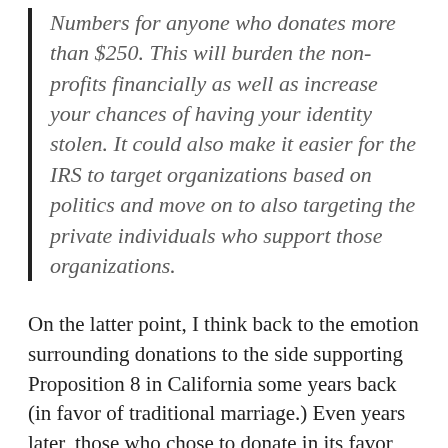Numbers for anyone who donates more than $250. This will burden the non-profits financially as well as increase your chances of having your identity stolen. It could also make it easier for the IRS to target organizations based on politics and move on to also targeting the private individuals who support those organizations.
On the latter point, I think back to the emotion surrounding donations to the side supporting Proposition 8 in California some years back (in favor of traditional marriage.) Even years later, those who chose to donate in its favor had to